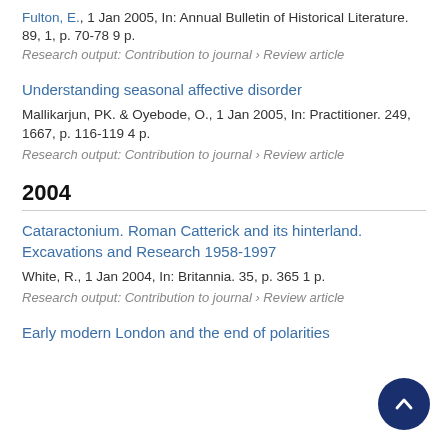Fulton, E., 1 Jan 2005, In: Annual Bulletin of Historical Literature. 89, 1, p. 70-78 9 p.
Research output: Contribution to journal › Review article
Understanding seasonal affective disorder
Mallikarjun, PK. & Oyebode, O., 1 Jan 2005, In: Practitioner. 249, 1667, p. 116-119 4 p.
Research output: Contribution to journal › Review article
2004
Cataractonium. Roman Catterick and its hinterland. Excavations and Research 1958-1997
White, R., 1 Jan 2004, In: Britannia. 35, p. 365 1 p.
Research output: Contribution to journal › Review article
Early modern London and the end of polarities